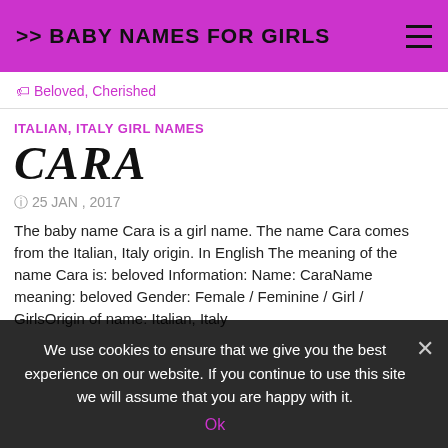>> BABY NAMES FOR GIRLS
🏷 Beloved, Cherished
ITALIAN, ITALY GIRL NAMES
CARA
25 JAN , 2017
The baby name Cara is a girl name. The name Cara comes from the Italian, Italy origin. In English The meaning of the name Cara is: beloved Information: Name: CaraName meaning: beloved Gender: Female / Feminine / Girl / GirlsOrigin of name: Italian, Italy
We use cookies to ensure that we give you the best experience on our website. If you continue to use this site we will assume that you are happy with it.
Ok